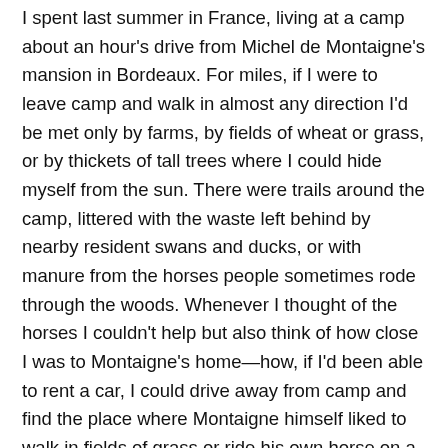I spent last summer in France, living at a camp about an hour's drive from Michel de Montaigne's mansion in Bordeaux. For miles, if I were to leave camp and walk in almost any direction I'd be met only by farms, by fields of wheat or grass, or by thickets of tall trees where I could hide myself from the sun. There were trails around the camp, littered with the waste left behind by nearby resident swans and ducks, or with manure from the horses people sometimes rode through the woods. Whenever I thought of the horses I couldn't help but also think of how close I was to Montaigne's home—how, if I'd been able to rent a car, I could drive away from camp and find the place where Montaigne himself liked to walk in fields of grass or ride his own horse on a fine summer day.

    I once told a friend who was studying philosophy